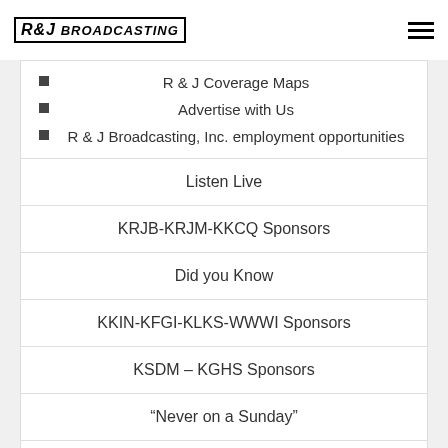R&J Broadcasting
R & J Coverage Maps
Advertise with Us
R & J Broadcasting, Inc. employment opportunities
Listen Live
KRJB-KRJM-KKCQ Sponsors
Did you Know
KKIN-KFGI-KLKS-WWWI Sponsors
KSDM – KGHS Sponsors
“Never on a Sunday”
R & J Sponsor Deals